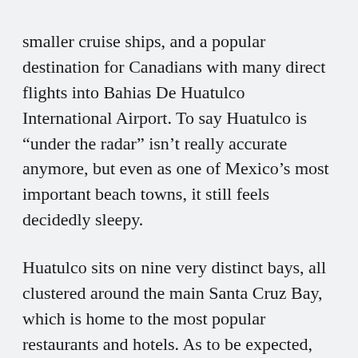smaller cruise ships, and a popular destination for Canadians with many direct flights into Bahias De Huatulco International Airport. To say Huatulco is “under the radar” isn’t really accurate anymore, but even as one of Mexico’s most important beach towns, it still feels decidedly sleepy.
Huatulco sits on nine very distinct bays, all clustered around the main Santa Cruz Bay, which is home to the most popular restaurants and hotels. As to be expected, this is where the busiest beaches are (read: all the people). But even by high tourism standards, we aren’t talking the same crowds or prices of destinations like Cancún or Los Cabos. The best advice is to make Santa Cruz Bay your